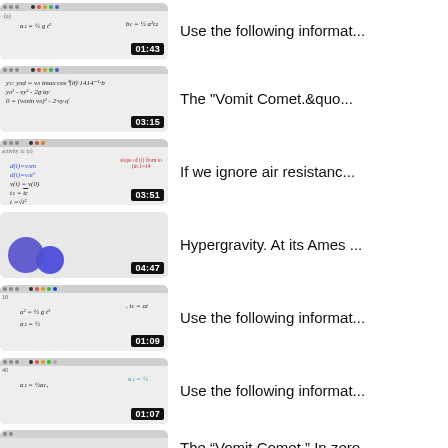Use the following informat...
The "Vomit Comet.&quo...
If we ignore air resistanc...
Hypergravity. At its Ames ...
Use the following informat...
Use the following informat...
The “Vomit Comet.” In zero...